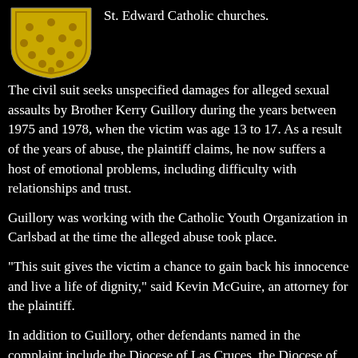[Figure (logo): Yellow/gold shield-shaped heraldic crest with decorative pattern on black background]
St. Edward Catholic churches.
The civil suit seeks unspecified damages for alleged sexual assaults by Brother Kerry Guillory during the years between 1975 and 1978, when the victim was age 13 to 17. As a result of the years of abuse, the plaintiff claims, he now suffers a host of emotional problems, including difficulty with relationships and trust.
Guillory was working with the Catholic Youth Organization in Carlsbad at the time the alleged abuse took place.
"This suit gives the victim a chance to gain back his innocence and live a life of dignity," said Kevin McGuire, an attorney for the plaintiff.
In addition to Guillory, other defendants named in the complaint include the Diocese of Las Cruces, the Diocese of El Paso, San Jose Catholic Church of Carlsbad, St. Edward Catholic Church of Carlsbad and the Province of Our Lady of Consolation.
Bishop Ricardo Ramirez was said to be out of his office at the Diocese of Las Cruces and could not be reached for comment